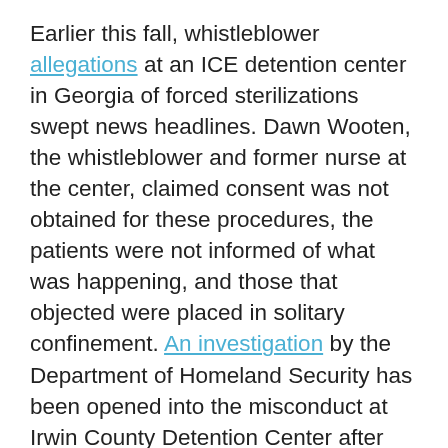Earlier this fall, whistleblower allegations at an ICE detention center in Georgia of forced sterilizations swept news headlines. Dawn Wooten, the whistleblower and former nurse at the center, claimed consent was not obtained for these procedures, the patients were not informed of what was happening, and those that objected were placed in solitary confinement. An investigation by the Department of Homeland Security has been opened into the misconduct at Irwin County Detention Center after significant urging from federal elected officials, as ethical questions such as obtaining informed consent and negligence have been raised. While the investigation is a start, it cannot be ignored that consistent complaints of misconduct have emerged from these detention centers and that the government has an unsavory history with forced sterilizations. The first eugenics